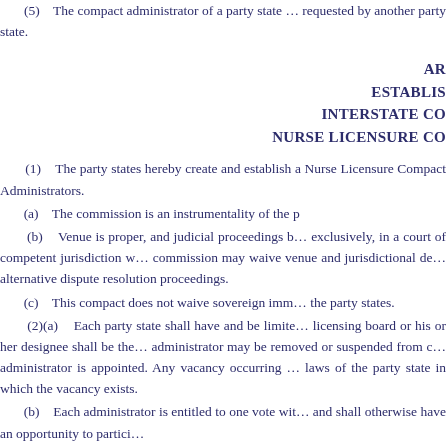(5)    The compact administrator of a party state … requested by another party state.
ARTICLE
ESTABLISHMENT OF THE
INTERSTATE COMMISSION OF
NURSE LICENSURE COMPACT ADMINISTRATORS
(1)    The party states hereby create and establish a … Nurse Licensure Compact Administrators.
(a)    The commission is an instrumentality of the p…
(b)    Venue is proper, and judicial proceedings b… exclusively, in a court of competent jurisdiction w… commission may waive venue and jurisdictional de… alternative dispute resolution proceedings.
(c)    This compact does not waive sovereign imm… the party states.
(2)(a)    Each party state shall have and be limite… licensing board or his or her designee shall be the… administrator may be removed or suspended from c… administrator is appointed. Any vacancy occurring … laws of the party state in which the vacancy exists.
(b)    Each administrator is entitled to one vote wit… and shall otherwise have an opportunity to partici…